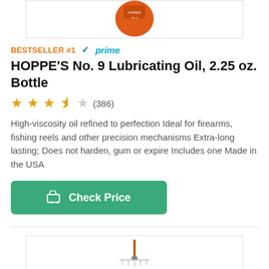[Figure (photo): Top portion of orange Hoppe's No. 9 lubricating oil bottle, partially visible at top of page]
BESTSELLER #1 ✓prime
HOPPE'S No. 9 Lubricating Oil, 2.25 oz. Bottle
★★★½☆ (386)
High-viscosity oil refined to perfection Ideal for firearms, fishing reels and other precision mechanisms Extra-long lasting; Does not harden, gum or expire Includes one Made in the USA
[Figure (other): Green 'Check Price' button with shopping cart icon]
[Figure (photo): Bottom of page showing partial image of a cleaning rod/brush product]